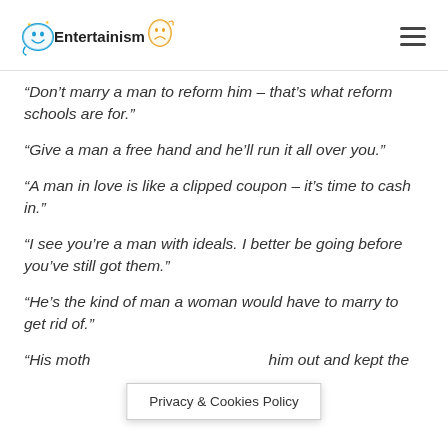Entertainism
“Don’t marry a man to reform him – that’s what reform schools are for.”
“Give a man a free hand and he’ll run it all over you.”
“A man in love is like a clipped coupon – it’s time to cash in.”
“I see you’re a man with ideals. I better be going before you’ve still got them.”
“He’s the kind of man a woman would have to marry to get rid of.”
“His moth… him out and kept the…”
Privacy & Cookies Policy